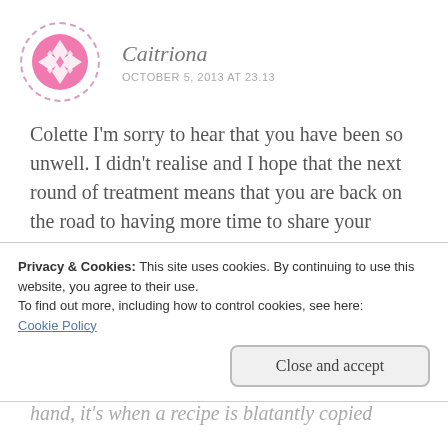[Figure (illustration): Pink decorative avatar icon with diamond/snowflake pattern in a dashed circular border]
Caitriona
OCTOBER 5, 2013 AT 23.13
Colette I'm sorry to hear that you have been so unwell. I didn't realise and I hope that the next round of treatment means that you are back on the road to having more time to share your wisdom.
When it comes to recipes, this is regularly the subject of great debate. I feel that if you have
Privacy & Cookies: This site uses cookies. By continuing to use this website, you agree to their use.
To find out more, including how to control cookies, see here:
Cookie Policy
Close and accept
hand, it's when a recipe is blatantly copied